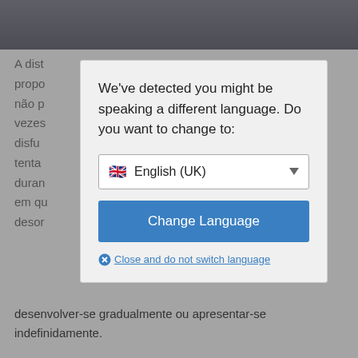[Figure (screenshot): Top portion of a person in dark clothing, partially visible]
A dist propo não p vezes disfun dificu tenta duran em qu deson desenvolver-se gradualmente ou apresentar-se indefinidamente.
[Figure (screenshot): Language detection modal dialog with dropdown showing English (UK) and Change Language button]
We've detected you might be speaking a different language. Do you want to change to:
English (UK)
Change Language
Close and do not switch language